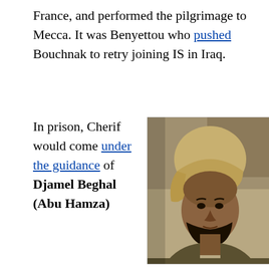France, and performed the pilgrimage to Mecca. It was Benyettou who pushed Bouchnak to retry joining IS in Iraq.
In prison, Cherif would come under the guidance of Djamel Beghal (Abu Hamza)
[Figure (photo): Photo of Salim Benghalem, a young man with a beard wearing a tan/khaki head wrap, outdoor background]
Salim Benghalem (image source)